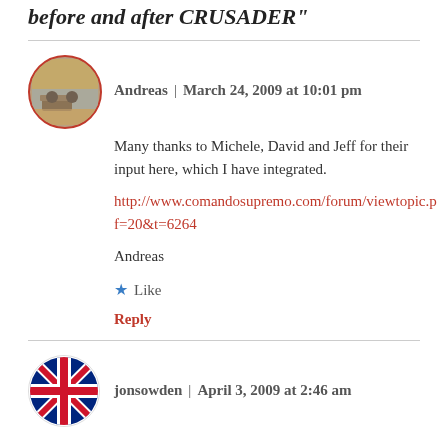before and after CRUSADER"
Andreas | March 24, 2009 at 10:01 pm
Many thanks to Michele, David and Jeff for their input here, which I have integrated.
http://www.comandosupremo.com/forum/viewtopic.p
f=20&t=6264
Andreas
Like
Reply
jonsowden | April 3, 2009 at 2:46 am